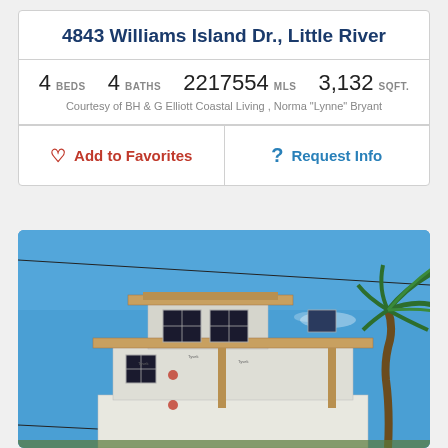4843 Williams Island Dr., Little River
4 BEDS   4 BATHS   2217554 MLS   3,132 SQFT.
Courtesy of BH & G Elliott Coastal Living , Norma "Lynne" Bryant
Add to Favorites
Request Info
[Figure (photo): Exterior photo of a house under construction against a blue sky, with a palm tree visible on the right side.]